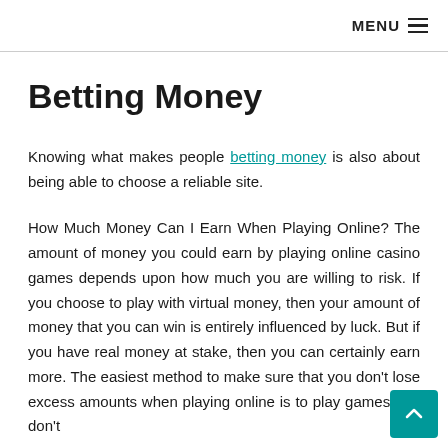MENU ≡
Betting Money
Knowing what makes people betting money is also about being able to choose a reliable site.
How Much Money Can I Earn When Playing Online? The amount of money you could earn by playing online casino games depends upon how much you are willing to risk. If you choose to play with virtual money, then your amount of money that you can win is entirely influenced by luck. But if you have real money at stake, then you can certainly earn more. The easiest method to make sure that you don't lose excess amounts when playing online is to play games that don't